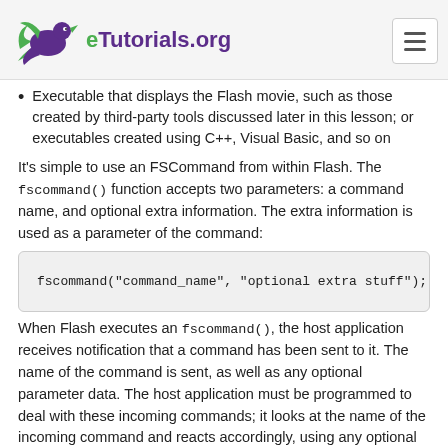eTutorials.org
Executable that displays the Flash movie, such as those created by third-party tools discussed later in this lesson; or executables created using C++, Visual Basic, and so on
It's simple to use an FSCommand from within Flash. The fscommand() function accepts two parameters: a command name, and optional extra information. The extra information is used as a parameter of the command:
fscommand("command_name", "optional extra stuff");
When Flash executes an fscommand(), the host application receives notification that a command has been sent to it. The name of the command is sent, as well as any optional parameter data. The host application must be programmed to deal with these incoming commands; it looks at the name of the incoming command and reacts accordingly, using any optional parameter data to complete the task. This functionality will become clearer as